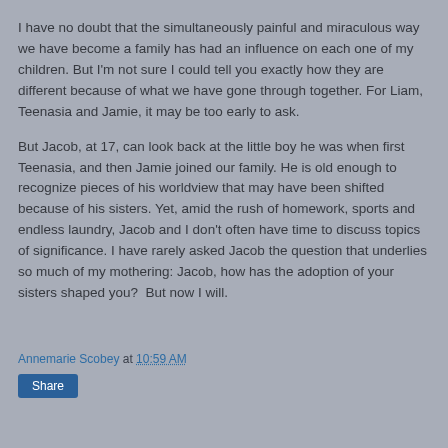I have no doubt that the simultaneously painful and miraculous way we have become a family has had an influence on each one of my children. But I'm not sure I could tell you exactly how they are different because of what we have gone through together. For Liam, Teenasia and Jamie, it may be too early to ask.
But Jacob, at 17, can look back at the little boy he was when first Teenasia, and then Jamie joined our family. He is old enough to recognize pieces of his worldview that may have been shifted because of his sisters. Yet, amid the rush of homework, sports and endless laundry, Jacob and I don't often have time to discuss topics of significance. I have rarely asked Jacob the question that underlies so much of my mothering: Jacob, how has the adoption of your sisters shaped you?  But now I will.
Annemarie Scobey at 10:59 AM
Share